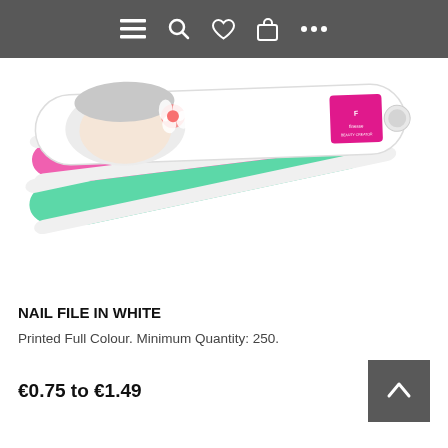Navigation bar with menu, search, heart, bag, and more icons
[Figure (photo): Nail file product in white with colorful (pink and mint green) filing pads and a woman's face printed on the white casing, stacked fan-style, branded with 'Finesse Beauty Creation']
NAIL FILE IN WHITE
Printed Full Colour. Minimum Quantity: 250.
€0.75 to €1.49